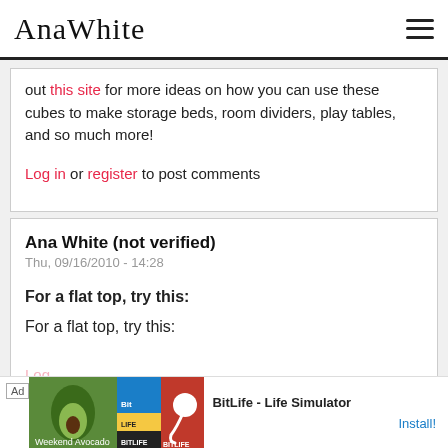Ana White
out this site for more ideas on how you can use these cubes to make storage beds, room dividers, play tables, and so much more!
Log in or register to post comments
Ana White (not verified)
Thu, 09/16/2010 - 14:28
For a flat top, try this:
For a flat top, try this:
[Figure (screenshot): BitLife - Life Simulator advertisement banner at the bottom of the page]